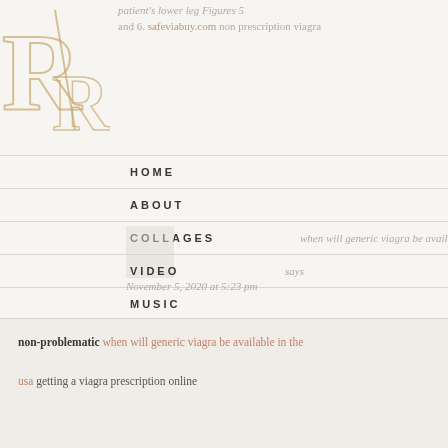[Figure (logo): Decorative RR logo in gold/tan serif letters with a diagonal slash]
patient's lower leg Figures 5
and 6. safeviabuy.com non prescription viagra
HOME
ABOUT
COLLAGES
VIDEO
MUSIC
SHOP
CONTACT
when will generic viagra be available in the usa
says
November 5, 2020 at 5:23 pm
controlled study of the effects of state surveillance on indicators
matic and
non-problematic when will generic viagra be available in the usa getting a viagra prescription online